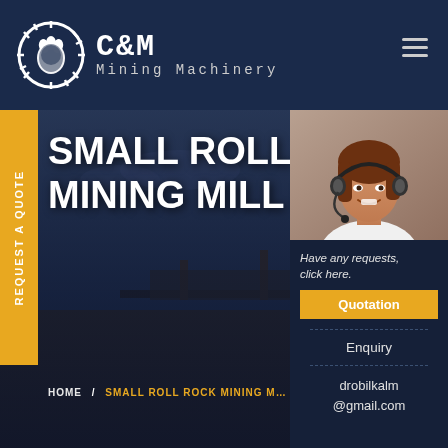[Figure (logo): C&M Mining Machinery logo with circular gear/claw icon and text]
SMALL ROLL ROC
MINING MILL FOR
REQUEST A QUOTE
HOME / SMALL ROLL ROCK MINING M…
[Figure (photo): Customer service agent woman wearing headset, smiling]
Have any requests, click here.
Quotation
Enquiry
drobilkalm@gmail.com